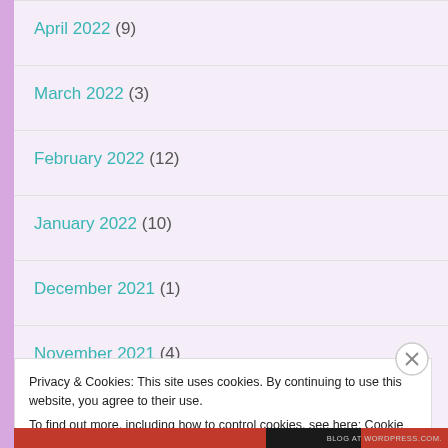April 2022 (9)
March 2022 (3)
February 2022 (12)
January 2022 (10)
December 2021 (1)
November 2021 (4)
Privacy & Cookies: This site uses cookies. By continuing to use this website, you agree to their use. To find out more, including how to control cookies, see here: Cookie Policy
Close and accept